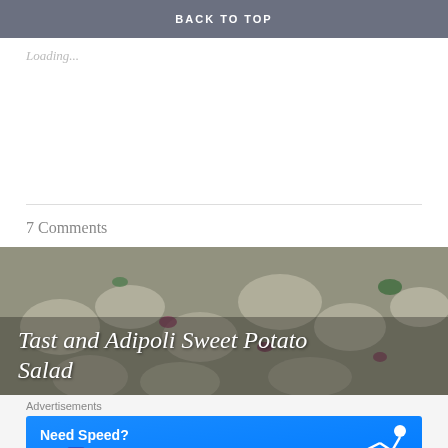BACK TO TOP
Loading...
7 Comments
[Figure (photo): Food photo of potato salad with text overlay: 'Tast and Adipoli Sweet Potato Salad']
Advertisements
[Figure (screenshot): Advertisement banner: Need Speed? Get Pressable — with a running figure illustration]